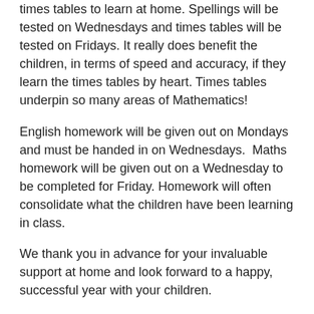times tables to learn at home. Spellings will be tested on Wednesdays and times tables will be tested on Fridays. It really does benefit the children, in terms of speed and accuracy, if they learn the times tables by heart. Times tables underpin so many areas of Mathematics!
English homework will be given out on Mondays and must be handed in on Wednesdays.  Maths homework will be given out on a Wednesday to be completed for Friday. Homework will often consolidate what the children have been learning in class.
We thank you in advance for your invaluable support at home and look forward to a happy, successful year with your children.
If you have any further questions or need any more information, please feel free to see us after school.